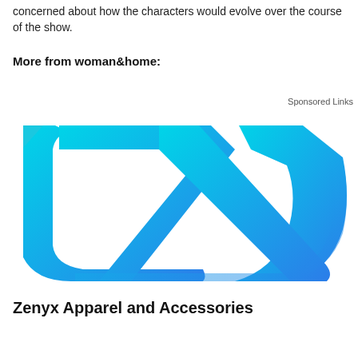concerned about how the characters would evolve over the course of the show.
More from woman&home:
Sponsored Links
[Figure (logo): Zenyx brand logo — abstract leaf/wing shape rendered in cyan-to-blue gradient strokes on white background]
Zenyx Apparel and Accessories